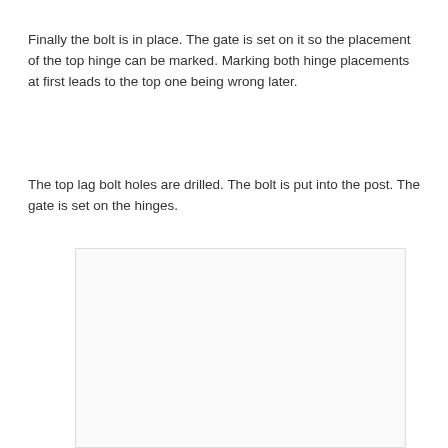Finally the bolt is in place. The gate is set on it so the placement of the top hinge can be marked. Marking both hinge placements at first leads to the top one being wrong later.
The top lag bolt holes are drilled. The bolt is put into the post. The gate is set on the hinges.
[Figure (photo): A blank or white photograph/image placeholder with light gray background and border.]